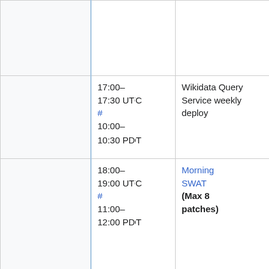|  | Time | Event | Names |
| --- | --- | --- | --- |
|  |  |  | Niharika (Niha or Željko (zelj |
|  | 17:00–17:30 UTC # 10:00–10:30 PDT | Wikidata Query Service weekly deploy | Guillaume (geh |
|  | 18:00–19:00 UTC # 11:00–12:00 PDT | Morning SWAT (Max 8 patches) | addshore, Ant (hashar), Brad (anomie), Cha (RainbowSpri Katie (aude), M (MaxSem), Muk (twentyafter Roan (RoanKa Sébastien (Dereckson), T (thcipriani) Niharika (Niha |